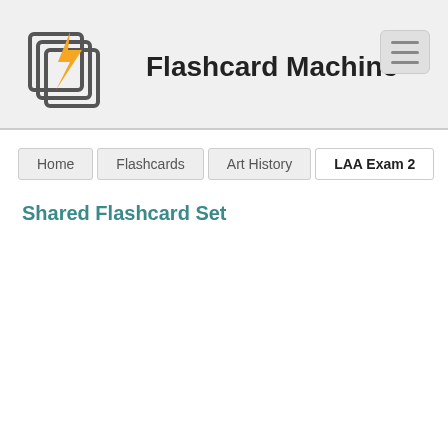Flashcard Machine
Home / Flashcards / Art History / LAA Exam 2
Shared Flashcard Set